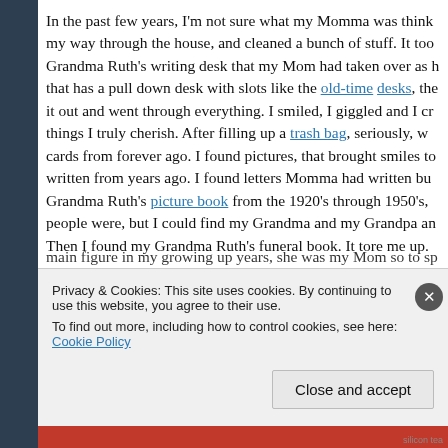In the past few years, I'm not sure what my Momma was thinking, my way through the house, and cleaned a bunch of stuff. It too Grandma Ruth's writing desk that my Mom had taken over as h that has a pull down desk with slots like the old-time desks, the it out and went through everything. I smiled, I giggled and I cr things I truly cherish. After filling up a trash bag, seriously, w cards from forever ago. I found pictures, that brought smiles to written from years ago. I found letters Momma had written bu Grandma Ruth's picture book from the 1920's through 1950's, people were, but I could find my Grandma and my Grandpa an Then I found my Grandma Ruth's funeral book. It tore me up. main figure in my growing up years, she was my Mom so to sp
Privacy & Cookies: This site uses cookies. By continuing to use this website, you agree to their use.
To find out more, including how to control cookies, see here: Cookie Policy